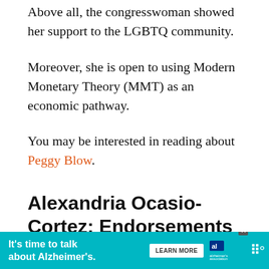Above all, the congresswoman showed her support to the LGBTQ community.
Moreover, she is open to using Modern Monetary Theory (MMT) as an economic pathway.
You may be interested in reading about Peggy Blow.
Alexandria Ocasio-Cortez: Endorsements
She has been criticized for having only two endorsements by march 3.
[Figure (other): Advertisement banner for Alzheimer's Association: 'It's time to talk about Alzheimer's.' with a Learn More button and Alzheimer's Association logo.]